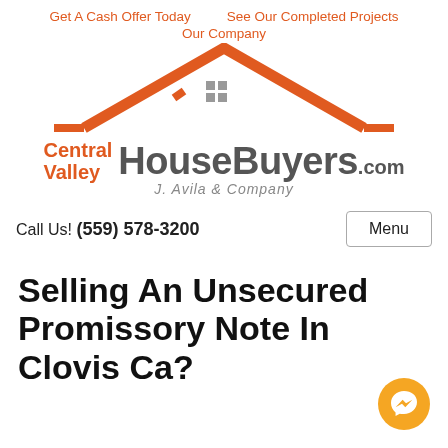Get A Cash Offer Today   See Our Completed Projects
Our Company
[Figure (logo): Central Valley HouseBuyers.com logo with orange house roof icon and J. Avila & Company tagline]
Call Us! (559) 578-3200
Selling An Unsecured Promissory Note In Clovis Ca?